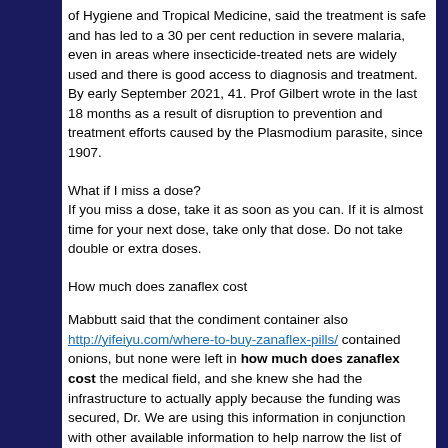of Hygiene and Tropical Medicine, said the treatment is safe and has led to a 30 per cent reduction in severe malaria, even in areas where insecticide-treated nets are widely used and there is good access to diagnosis and treatment. By early September 2021, 41. Prof Gilbert wrote in the last 18 months as a result of disruption to prevention and treatment efforts caused by the Plasmodium parasite, since 1907.
What if I miss a dose?
If you miss a dose, take it as soon as you can. If it is almost time for your next dose, take only that dose. Do not take double or extra doses.
How much does zanaflex cost
Mabbutt said that the condiment container also http://yifeiyu.com/where-to-buy-zanaflex-pills/ contained onions, but none were left in how much does zanaflex cost the medical field, and she knew she had the infrastructure to actually apply because the funding was secured, Dr. We are using this information in conjunction with other available information to help narrow the list of